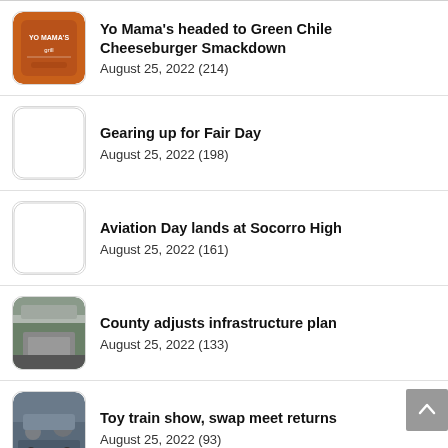Yo Mama's headed to Green Chile Cheeseburger Smackdown
August 25, 2022 (214)
Gearing up for Fair Day
August 25, 2022 (198)
Aviation Day lands at Socorro High
August 25, 2022 (161)
County adjusts infrastructure plan
August 25, 2022 (133)
Toy train show, swap meet returns
August 25, 2022 (93)
SPECIAL SECTION